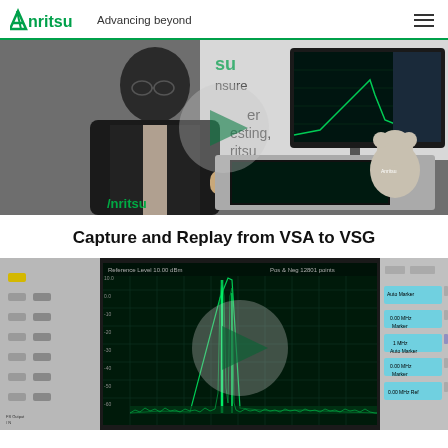Anritsu Advancing beyond
[Figure (photo): A man in a suit sitting at a desk operating test equipment (Anritsu instrument), with a monitor displaying spectrum analyzer software in the background and an Anritsu branded teddy bear on the desk. Anritsu logo visible in bottom left.]
Capture and Replay from VSA to VSG
[Figure (screenshot): Close-up of an Anritsu spectrum analyzer instrument panel showing a spectrum display with signal peaks on a dark background, with 'Reference Level 10.00 dBm' and 'Pos & Neg 12801 points' displayed. A translucent play button circle overlay is centered on the screen. Physical buttons visible on left and right sides of the unit.]